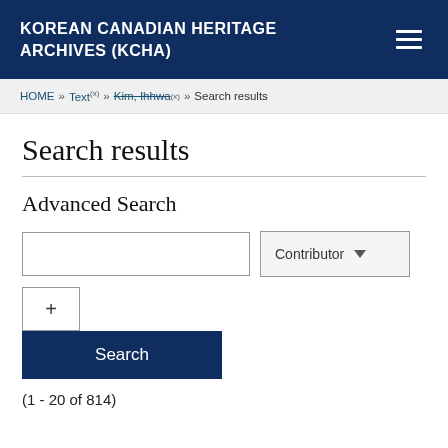KOREAN CANADIAN HERITAGE ARCHIVES (KCHA)
HOME » Text(x) » Kim, Ihhwa(x) » Search results
Search results
Advanced Search
(1 - 20 of 814)